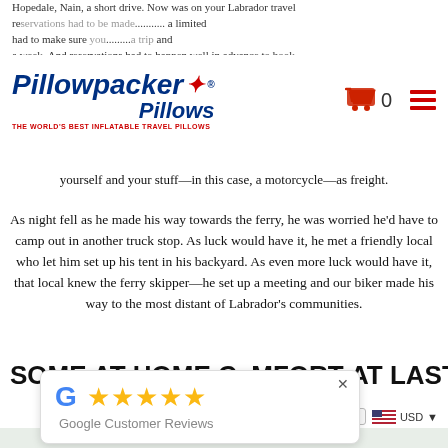Hopedale, Nain, a short drive. Now was on your Labrador travel reservations had to be made a year in advance by a limited number of ships that made the trip about once a week. And reservations had to happen well in advance to book yourself and your stuff—in this case, a motorcycle—as freight.
[Figure (logo): Pillowpacker Pillows logo with maple leaf, tagline 'THE WORLD'S BEST INFLATABLE TRAVEL PILLOWS', shopping cart icon with 0, and hamburger menu in red]
yourself and your stuff—in this case, a motorcycle—as freight.
As night fell as he made his way towards the ferry, he was worried he'd have to camp out in another truck stop. As luck would have it, he met a friendly local who let him set up his tent in his backyard. As even more luck would have it, that local knew the ferry skipper—he set up a meeting and our biker made his way to the most distant of Labrador's communities.
SOME AT HOME COMFORT AT LAST
[Figure (screenshot): Google Customer Reviews popup with 5 gold stars rating, Google G logo, and close button]
[Figure (screenshot): Currency selector showing US flag and USD dropdown, and Goose Bay button]
[Figure (map): Partial map visible at bottom of page]